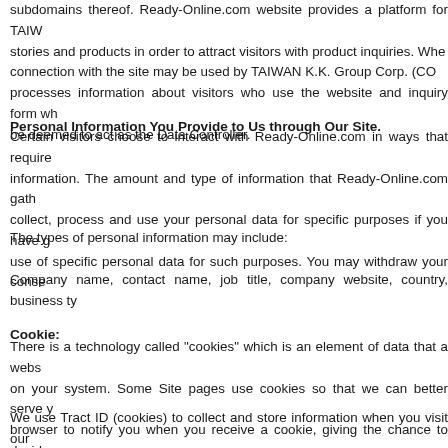subdomains thereof. Ready-Online.com website provides a platform for TAIW... stories and products in order to attract visitors with product inquiries. Whe... connection with the site may be used by TAIWAN K.K. Group Corp. (CO... processes information about visitors who use the website and inquiry form wh... be deemed to act as the Data Controller.
Personal Information You Provide to Us through Our Site.
Certain visitors choose to interact with Ready-Online.com in ways that require... information. The amount and type of information that Ready-Online.com gath... collect, process and use your personal data for specific purposes if you have g... use of specific personal data for such purposes. You may withdraw your conse...
The types of personal information may include:
Company name, contact name, job title, company website, country, business ty...
Cookie:
There is a technology called "cookies" which is an element of data that a webs... on your system. Some Site pages use cookies so that we can better serve y... browser to notify you when you receive a cookie, giving the chance to decide w...
We use Tract ID (cookies) to collect and store information when you visit our... Services (AWS) and used to identify your browser or device.